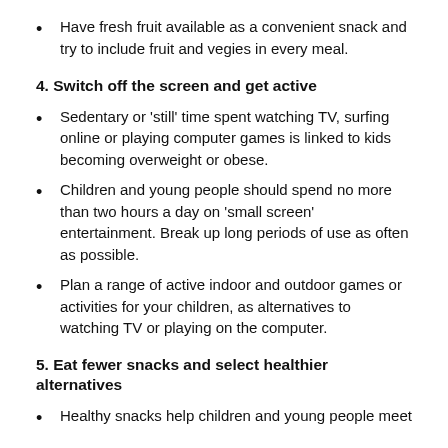Have fresh fruit available as a convenient snack and try to include fruit and vegies in every meal.
4. Switch off the screen and get active
Sedentary or 'still' time spent watching TV, surfing online or playing computer games is linked to kids becoming overweight or obese.
Children and young people should spend no more than two hours a day on 'small screen' entertainment. Break up long periods of use as often as possible.
Plan a range of active indoor and outdoor games or activities for your children, as alternatives to watching TV or playing on the computer.
5. Eat fewer snacks and select healthier alternatives
Healthy snacks help children and young people meet